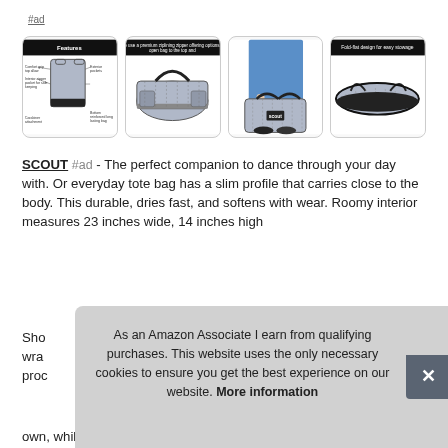#ad
[Figure (photo): Four product images of a SCOUT tote bag: 1) Features diagram with labeled parts, 2) Bag shown flat with zipper, 3) Person carrying bag by handles, 4) Bag folded flat with label 'Fold-flat design for easy stowage']
SCOUT #ad - The perfect companion to dance through your day with. Or everyday tote bag has a slim profile that carries close to the body. This durable, dries fast, and softens with wear. Roomy interior measures 23 inches wide, 14 inches high and 7 inches deep.
Sho[...] wra[...] proc[...] own, while holding it's shape regardless of how much or how
As an Amazon Associate I earn from qualifying purchases. This website uses the only necessary cookies to ensure you get the best experience on our website. More information